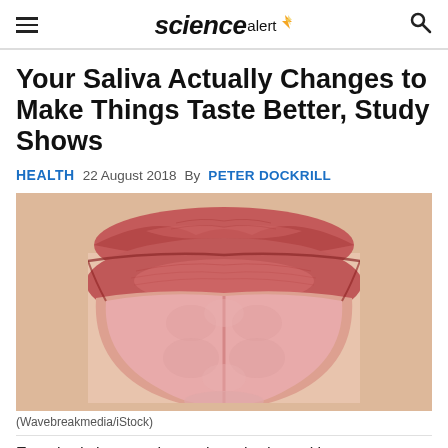science alert
Your Saliva Actually Changes to Make Things Taste Better, Study Shows
HEALTH  22 August 2018  By PETER DOCKRILL
[Figure (photo): Close-up photo of a person's mouth with red lips and tongue sticking out, showing the tongue extended downward. Skin tone background.]
(Wavebreakmedia/iStock)
Everybody knows what an 'acquired taste' is